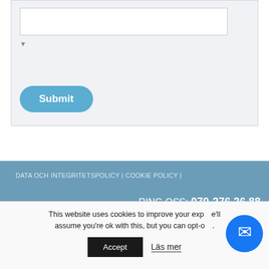[Figure (screenshot): Web form area with a text input field, a checkbox, and a Submit button on a light grey background]
DATA OCH INTEGRITETSPOLICY | COOKIE POLICY |
RING OSS: 070-276 26 88
© Copyright © 2014 WSI. All rights reserved.
This website uses cookies to improve your experience. We'll assume you're ok with this, but you can opt-out if you wish.
Accept
Läs mer